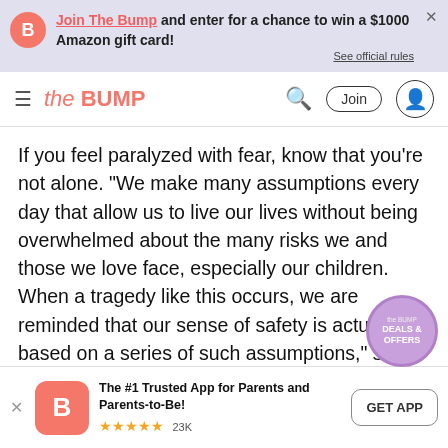Join The Bump and enter for a chance to win a $1000 Amazon gift card! See official rules
the BUMP — navigation bar with search, Join, and user icon
If you feel paralyzed with fear, know that you're not alone. “We make many assumptions every day that allow us to live our lives without being overwhelmed about the many risks we and those we love face, especially our children. When a tragedy like this occurs, we are reminded that our sense of safety is actually based on a series of such assumptions,” says David J. Schonfeld, MD, director of the National Center for School Crisis and Bereavement at Children’s Hospital Los Angeles. “It exposes fears
The #1 Trusted App for Parents and Parents-to-Be! ★★★★★ 23K  GET APP